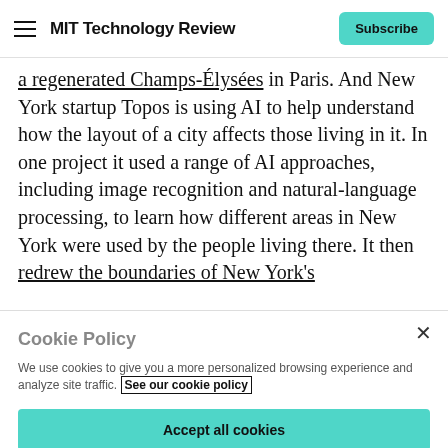MIT Technology Review | Subscribe
a regenerated Champs-Élysées in Paris. And New York startup Topos is using AI to help understand how the layout of a city affects those living in it. In one project it used a range of AI approaches, including image recognition and natural-language processing, to learn how different areas in New York were used by the people living there. It then redrew the boundaries of New York's
Cookie Policy
We use cookies to give you a more personalized browsing experience and analyze site traffic. See our cookie policy
Accept all cookies
Cookies settings